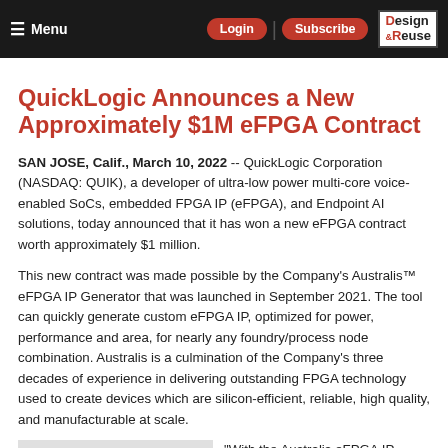Menu | Login | Subscribe | Design & Reuse
QuickLogic Announces a New Approximately $1M eFPGA Contract
SAN JOSE, Calif., March 10, 2022 -- QuickLogic Corporation (NASDAQ: QUIK), a developer of ultra-low power multi-core voice-enabled SoCs, embedded FPGA IP (eFPGA), and Endpoint AI solutions, today announced that it has won a new eFPGA contract worth approximately $1 million.
This new contract was made possible by the Company's Australis™ eFPGA IP Generator that was launched in September 2021. The tool can quickly generate custom eFPGA IP, optimized for power, performance and area, for nearly any foundry/process node combination. Australis is a culmination of the Company's three decades of experience in delivering outstanding FPGA technology used to create devices which are silicon-efficient, reliable, high quality, and manufacturable at scale.
"With the Australis eFPGA IP